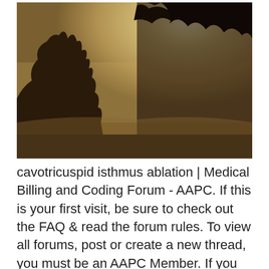[Figure (photo): A sepia-toned misty outdoor photograph showing tree silhouettes against a hazy sky with sun glow in the upper right area.]
cavotricuspid isthmus ablation | Medical Billing and Coding Forum - AAPC. If this is your first visit, be sure to check out the FAQ & read the forum rules. To view all forums, post or create a new thread, you must be an AAPC Member. If you are a member and have already registered for member area and